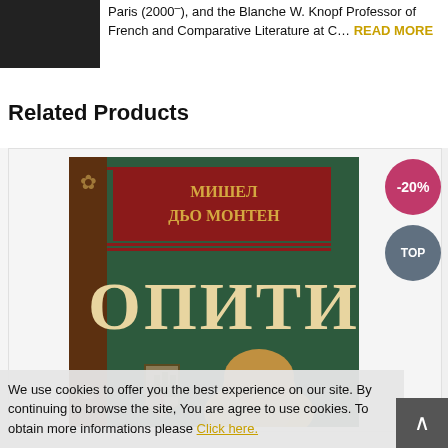Paris (2000–), and the Blanche W. Knopf Professor of French and Comparative Literature at C... READ MORE
Related Products
[Figure (photo): Book cover: Мишел дьо Монтен — Опити (volume 1), green cover with Cyrillic text, brown spine, author portrait at bottom, with -20% discount badge and TOP badge]
We use cookies to offer you the best experience on our site. By continuing to browse the site, You are agree to use cookies. To obtain more informations please Click here.